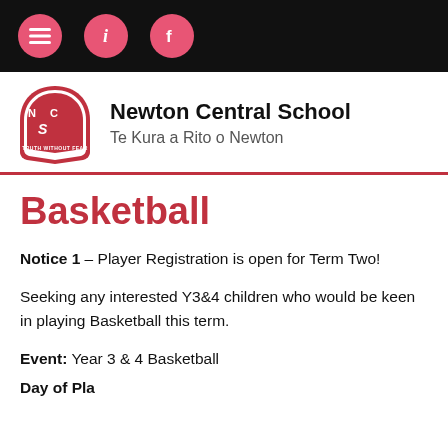Newton Central School – Te Kura a Rito o Newton
Basketball
Notice 1 – Player Registration is open for Term Two!
Seeking any interested Y3&4 children who would be keen in playing Basketball this term.
Event: Year 3 & 4 Basketball